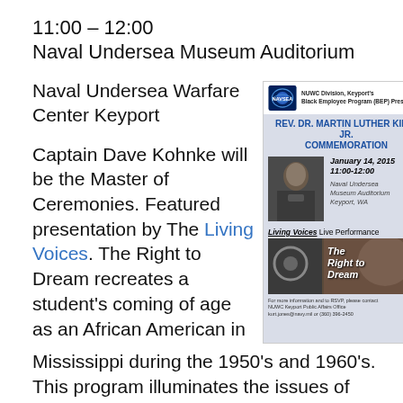11:00 – 12:00
Naval Undersea Museum Auditorium
Naval Undersea Warfare Center Keyport
Captain Dave Kohnke will be the Master of Ceremonies. Featured presentation by The Living Voices. The Right to Dream recreates a student's coming of age as an African American in Mississippi during the 1950's and 1960's. This program illuminates the issues of civil rights, leading audiences to understand how the fight against prejudice has shaped our history.
[Figure (photo): Event flyer for REV. DR. MARTIN LUTHER KING, JR. COMMEMORATION presented by NUWC Division Keyport's Black Employee Program (BEP). Shows date January 14, 2015, 11:00-12:00, Naval Undersea Museum Auditorium, Keyport, WA. Features photo of Dr. King and Living Voices Live Performance advertisement for 'The Right to Dream'.]